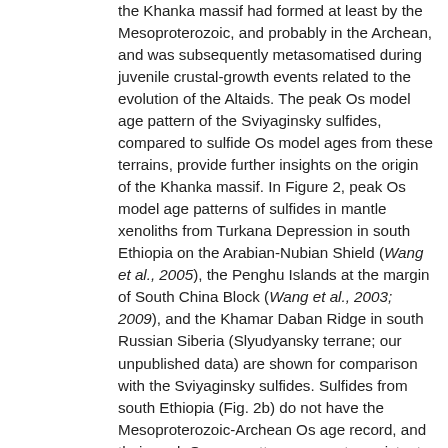the Khanka massif had formed at least by the Mesoproterozoic, and probably in the Archean, and was subsequently metasomatised during juvenile crustal-growth events related to the evolution of the Altaids. The peak Os model age pattern of the Sviyaginsky sulfides, compared to sulfide Os model ages from these terrains, provide further insights on the origin of the Khanka massif. In Figure 2, peak Os model age patterns of sulfides in mantle xenoliths from Turkana Depression in south Ethiopia on the Arabian-Nubian Shield (Wang et al., 2005), the Penghu Islands at the margin of South China Block (Wang et al., 2003; 2009), and the Khamar Daban Ridge in south Russian Siberia (Slyudyansky terrane; our unpublished data) are shown for comparison with the Sviyaginsky sulfides. Sulfides from south Ethiopia (Fig. 2b) do not have the Mesoproterozoic-Archean Os age record, and their peak Os age patterns are not consistent with the Sviyaginsky sulfides. The Sviyaginsky sulfides have pronounced peak ages at 1.1-1.2 and 0.8 Ga, while the Taiwan sulfides obviously do not have an age peak at 1.1-1.2 Ga (Fig. 2c). Only sulfides from the Slyudyansky terrane have peak age patterns similar to